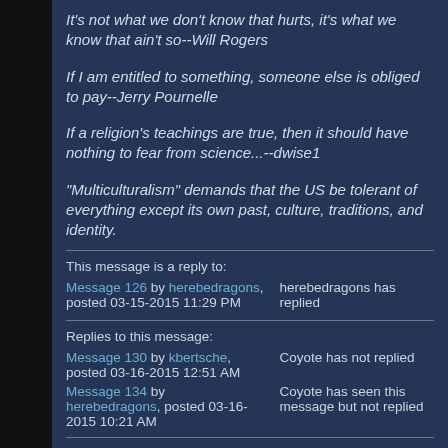It's not what we don't know that hurts, it's what we know that ain't so--Will Rogers
If I am entitled to something, someone else is obliged to pay--Jerry Pournelle
If a religion's teachings are true, then it should have nothing to fear from science...--dwise1
"Multiculturalism" demands that the US be tolerant of everything except its own past, culture, traditions, and identity.
This message is a reply to:
Message 126 by herebedragons, posted 03-15-2015 11:29 PM | herebedragons has replied
Replies to this message:
Message 130 by kbertsche, posted 03-16-2015 12:51 AM | Coyote has not replied
Message 134 by herebedragons, posted 03-16-2015 10:21 AM | Coyote has seen this message but not replied